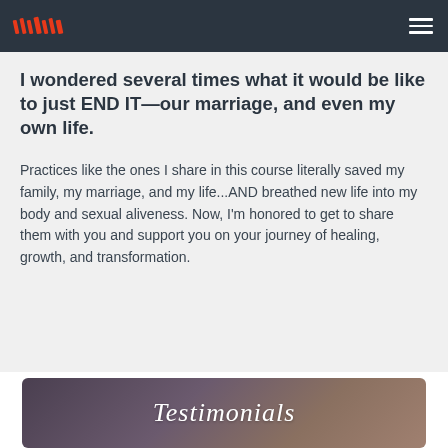[Logo] [Navigation menu]
I wondered several times what it would be like to just END IT—our marriage, and even my own life.
Practices like the ones I share in this course literally saved my family, my marriage, and my life...AND breathed new life into my body and sexual aliveness. Now, I'm honored to get to share them with you and support you on your journey of healing, growth, and transformation.
[Figure (other): Decorative section header with cursive 'Testimonials' text on a gradient dark background (purple to brown tones)]